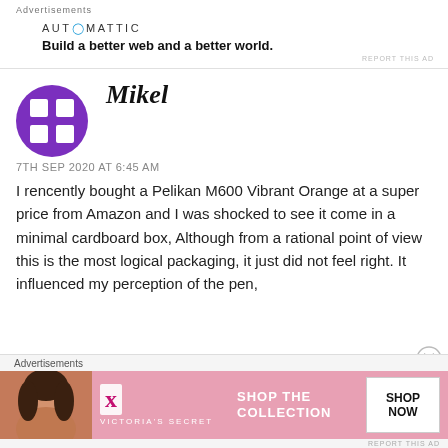Advertisements
[Figure (other): Automattic advertisement: logo text 'AUTOMATTIC' with blue 'O', tagline 'Build a better web and a better world.']
REPORT THIS AD
Mikel
7TH SEP 2020 AT 6:45 AM
I rencently bought a Pelikan M600 Vibrant Orange at a super price from Amazon and I was shocked to see it come in a minimal cardboard box, Although from a rational point of view this is the most logical packaging, it just did not feel right. It influenced my perception of the pen,
Advertisements
[Figure (other): Victoria's Secret advertisement banner with photo of woman, VS logo, text 'SHOP THE COLLECTION', and 'SHOP NOW' button]